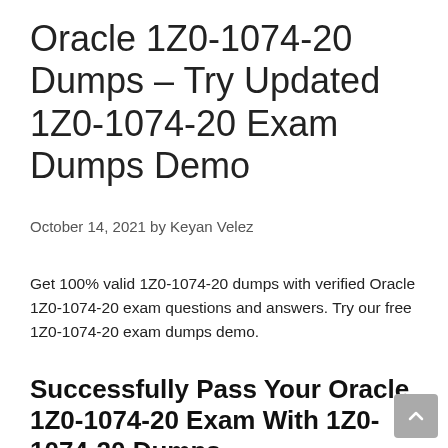Oracle 1Z0-1074-20 Dumps – Try Updated 1Z0-1074-20 Exam Dumps Demo
October 14, 2021 by Keyan Velez
Get 100% valid 1Z0-1074-20 dumps with verified Oracle 1Z0-1074-20 exam questions and answers. Try our free 1Z0-1074-20 exam dumps demo.
Successfully Pass Your Oracle 1Z0-1074-20 Exam With 1Z0-1074-20 Dumps